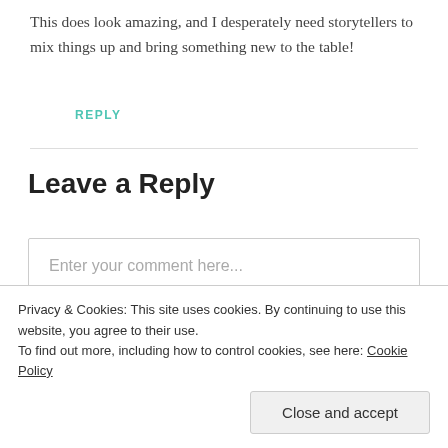This does look amazing, and I desperately need storytellers to mix things up and bring something new to the table!
REPLY
Leave a Reply
Enter your comment here...
Privacy & Cookies: This site uses cookies. By continuing to use this website, you agree to their use. To find out more, including how to control cookies, see here: Cookie Policy
Close and accept